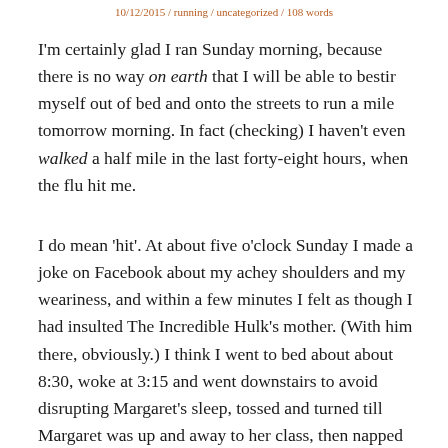10/12/2015 / running / uncategorized / 108 words
I'm certainly glad I ran Sunday morning, because there is no way on earth that I will be able to bestir myself out of bed and onto the streets to run a mile tomorrow morning. In fact (checking) I haven't even walked a half mile in the last forty-eight hours, when the flu hit me.
I do mean 'hit'. At about five o'clock Sunday I made a joke on Facebook about my achey shoulders and my weariness, and within a few minutes I felt as though I had insulted The Incredible Hulk's mother. (With him there, obviously.) I think I went to bed about about 8:30, woke at 3:15 and went downstairs to avoid disrupting Margaret's sleep, tossed and turned till Margaret was up and away to her class, then napped intermittently for the rest of the day. Last night I spent the whole night downstairs for Margaret's sake, and have been stationed here on the couch in the lounge or